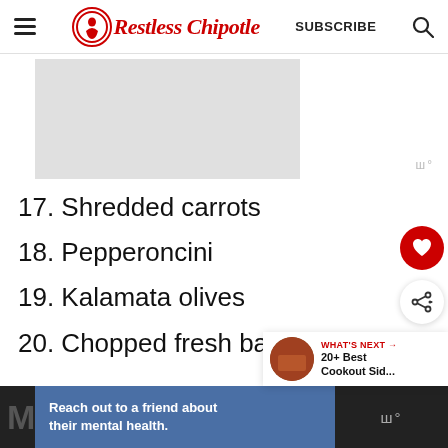Restless Chipotle | SUBSCRIBE
[Figure (screenshot): Gray advertisement placeholder rectangle]
17. Shredded carrots
18. Pepperoncini
19. Kalamata olives
20. Chopped fresh basil
[Figure (infographic): What's Next panel: 20+ Best Cookout Sid...]
Reach out to a friend about their mental health.